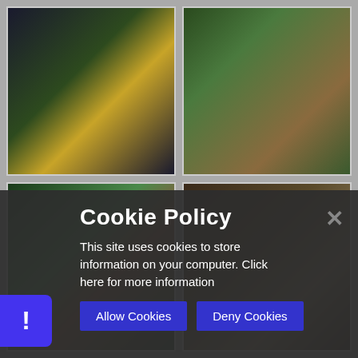[Figure (photo): Two women embracing/dancing outdoors, one in yellow cardigan, green garden background]
[Figure (photo): Group of people outdoors, colorful clothing, green grass background]
[Figure (photo): Two women smiling outdoors, one with flower in hair, green park background]
[Figure (photo): Group of people interacting outdoors near wooden structure]
Cookie Policy
This site uses cookies to store information on your computer. Click here for more information
Allow Cookies
Deny Cookies